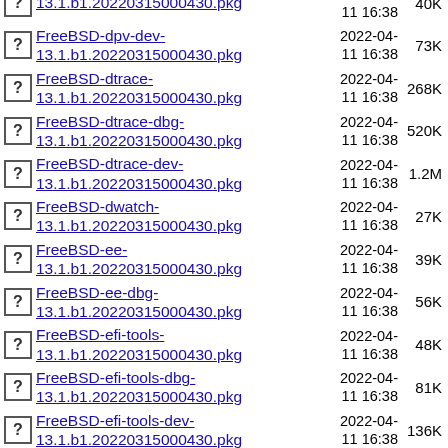FreeBSD-dpv-dev-13.1.b1.20220315000430.pkg  2022-04-11 16:38  40K
FreeBSD-dpv-dev-13.1.b1.20220315000430.pkg  2022-04-11 16:38  73K
FreeBSD-dtrace-13.1.b1.20220315000430.pkg  2022-04-11 16:38  268K
FreeBSD-dtrace-dbg-13.1.b1.20220315000430.pkg  2022-04-11 16:38  520K
FreeBSD-dtrace-dev-13.1.b1.20220315000430.pkg  2022-04-11 16:38  1.2M
FreeBSD-dwatch-13.1.b1.20220315000430.pkg  2022-04-11 16:38  27K
FreeBSD-ee-13.1.b1.20220315000430.pkg  2022-04-11 16:38  39K
FreeBSD-ee-dbg-13.1.b1.20220315000430.pkg  2022-04-11 16:38  56K
FreeBSD-efi-tools-13.1.b1.20220315000430.pkg  2022-04-11 16:38  48K
FreeBSD-efi-tools-dbg-13.1.b1.20220315000430.pkg  2022-04-11 16:38  81K
FreeBSD-efi-tools-dev-13.1.b1.20220315000430.pkg  2022-04-11 16:38  136K
FreeBSD-fetch-13.1.b1.20220315000430.pkg  2022-04-11 16:38  55K